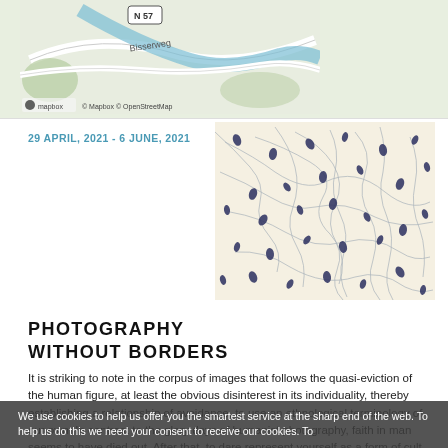[Figure (map): Street map showing Bisserweg area with N57 marker, rendered by Mapbox and OpenStreetMap]
29 APRIL, 2021 - 6 JUNE, 2021
[Figure (photo): Abstract microscopy-style image showing many branching filaments with small dark oval shapes (cells or spores) on a cream background]
PHOTOGRAPHY WITHOUT BORDERS
It is striking to note in the corpus of images that follows the quasi-eviction of the human figure, at least the obvious disinterest in its individuality, thereby establishing a relationship of avoidance, to use an ethnological terminology of our own. In contrast to the glory days of humanist photography, faith in man seems to have died out. After that, to dare represent yourself as a form of cult inherent in...
We use cookies to help us offer you the smartest service at the sharp end of the web. To help us do this we need your consent to receive our cookies. To